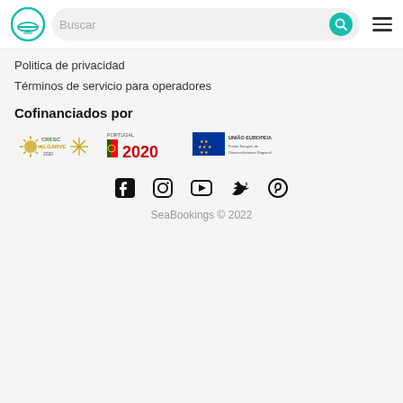Buscar
Politica de privacidad
Términos de servicio para operadores
Cofinanciados por
[Figure (logo): CRESC Algarve 2020, Portugal 2020, and União Europeia logos]
[Figure (infographic): Social media icons: Facebook, Instagram, YouTube, Twitter, Pinterest]
SeaBookings © 2022